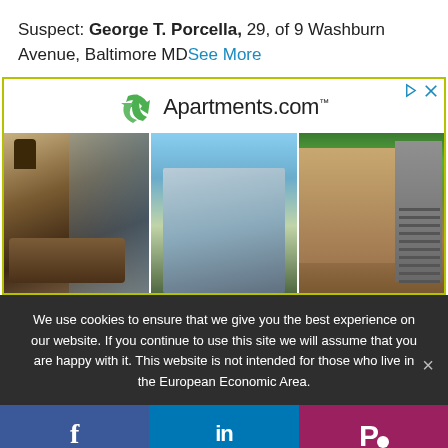Suspect: George T. Porcella, 29, of 9 Washburn Avenue, Baltimore MD See More
[Figure (advertisement): Apartments.com advertisement banner with logo (green recycling-style hexagon icon and text 'Apartments.com') above a strip of three apartment photos: a patio with furniture, a tall glass office/apartment building, and a wood-frame apartment with exterior stairs. Yellow-green border around the ad.]
We use cookies to ensure that we give you the best experience on our website. If you continue to use this site we will assume that you are happy with it. This website is not intended for those who live in the European Economic Area.
[Figure (infographic): Social media share buttons: Facebook (blue), LinkedIn (blue), and Parler (purple/pink) icons in a row at the bottom of the page.]